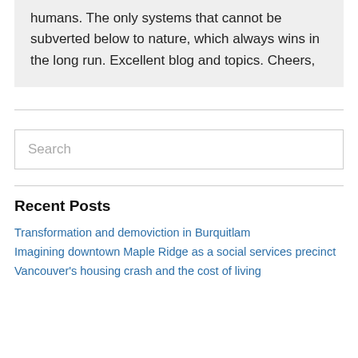humans. The only systems that cannot be subverted below to nature, which always wins in the long run. Excellent blog and topics. Cheers,
Search
Recent Posts
Transformation and demoviction in Burquitlam
Imagining downtown Maple Ridge as a social services precinct
Vancouver's housing crash and the cost of living